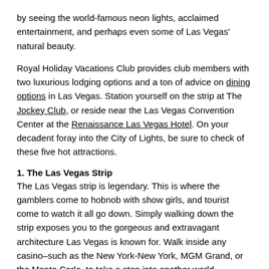by seeing the world-famous neon lights, acclaimed entertainment, and perhaps even some of Las Vegas' natural beauty.
Royal Holiday Vacations Club provides club members with two luxurious lodging options and a ton of advice on dining options in Las Vegas. Station yourself on the strip at The Jockey Club, or reside near the Las Vegas Convention Center at the Renaissance Las Vegas Hotel. On your decadent foray into the City of Lights, be sure to check of these five hot attractions.
1. The Las Vegas Strip
The Las Vegas strip is legendary. This is where the gamblers come to hobnob with show girls, and tourist come to watch it all go down. Simply walking down the strip exposes you to the gorgeous and extravagant architecture Las Vegas is known for. Walk inside any casino–such as the New York-New York, MGM Grand, or the Monte Carlo–to take a step into another world.
2. Cirque du Soleil
If you see only one show while you are in Las Vegas, make it a Cirque du Soleil show. This colorful and exotic brand of circus performance is